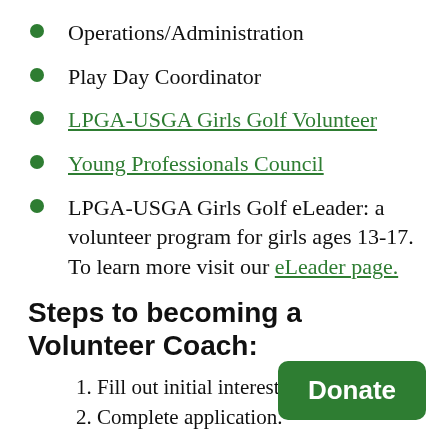Operations/Administration
Play Day Coordinator
LPGA-USGA Girls Golf Volunteer
Young Professionals Council
LPGA-USGA Girls Golf eLeader: a volunteer program for girls ages 13-17.  To learn more visit our eLeader page.
Steps to becoming a Volunteer Coach:
Fill out initial interest form.
Complete application.